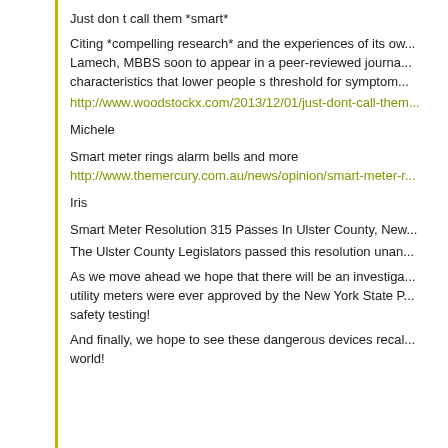Just don t call them *smart*
Citing *compelling research* and the experiences of its own members, Dr. Lamech, MBBS soon to appear in a peer-reviewed journal identifies characteristics that lower people s threshold for symptom...
http://www.woodstockx.com/2013/12/01/just-dont-call-them...
Michele
Smart meter rings alarm bells and more
http://www.themercury.com.au/news/opinion/smart-meter-...
Iris
Smart Meter Resolution 315 Passes In Ulster County, New...
The Ulster County Legislators passed this resolution unan...
As we move ahead we hope that there will be an investigation into how these utility meters were ever approved by the New York State P... safety testing!
And finally, we hope to see these dangerous devices recalled world!